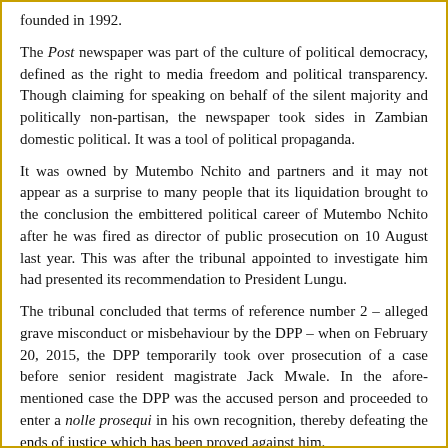founded in 1932.
The Post newspaper was part of the culture of political democracy, defined as the right to media freedom and political transparency. Though claiming for speaking on behalf of the silent majority and politically non-partisan, the newspaper took sides in Zambian domestic political. It was a tool of political propaganda.
It was owned by Mutembo Nchito and partners and it may not appear as a surprise to many people that its liquidation brought to the conclusion the embittered political career of Mutembo Nchito after he was fired as director of public prosecution on 10 August last year. This was after the tribunal appointed to investigate him had presented its recommendation to President Lungu.
The tribunal concluded that terms of reference number 2 – alleged grave misconduct or misbehaviour by the DPP – when on February 20, 2015, the DPP temporarily took over prosecution of a case before senior resident magistrate Jack Mwale. In the afore-mentioned case the DPP was the accused person and proceeded to enter a nolle prosequi in his own recognition, thereby defeating the ends of justice which has been proved against him.
During the past three years the Post was a mouthpiece of the UPND in terms of political propaganda (coverage). This was especially evident during the 11 August presidential political campaigns. The former Information Minister, Chishimba Kambwili, will be remembered for having threatened the Post with liquidation during the recent past year. The liquidation of the